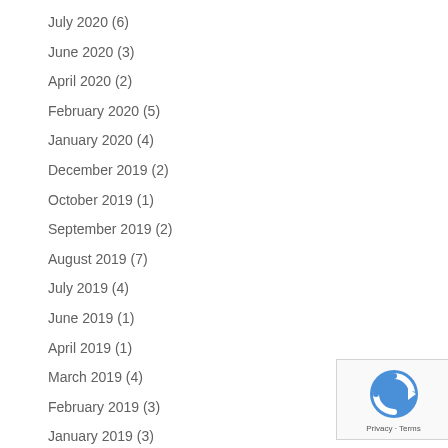July 2020 (6)
June 2020 (3)
April 2020 (2)
February 2020 (5)
January 2020 (4)
December 2019 (2)
October 2019 (1)
September 2019 (2)
August 2019 (7)
July 2019 (4)
June 2019 (1)
April 2019 (1)
March 2019 (4)
February 2019 (3)
January 2019 (3)